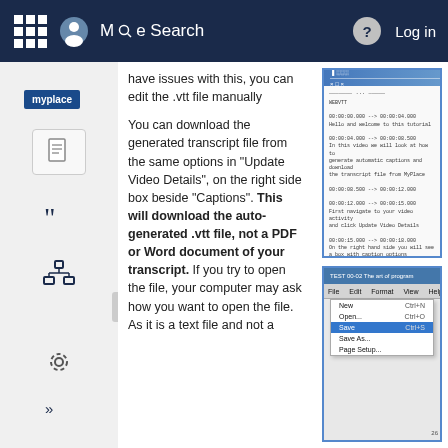More Search  ? Log in
have issues with this, you can edit the .vtt file manually

You can download the generated transcript file from the same options in "Update Video Details", on the right side box beside "Captions". This will download the auto-generated .vtt file, not a PDF or Word document of your transcript.  If you try to open the file, your computer may ask how you want to open the file. As it is a text file and not a...
[Figure (screenshot): Screenshot showing a .vtt file content in a browser window with blue title bar, displaying timestamped transcript text]
[Figure (screenshot): Screenshot showing a text editor (Notepad) with a file open named 'TEST 00-02 The art of program' and a File menu open showing options: New Ctrl+N, Open... Ctrl+O, Save (highlighted in blue) Ctrl+S, Save As..., Page Setup...]